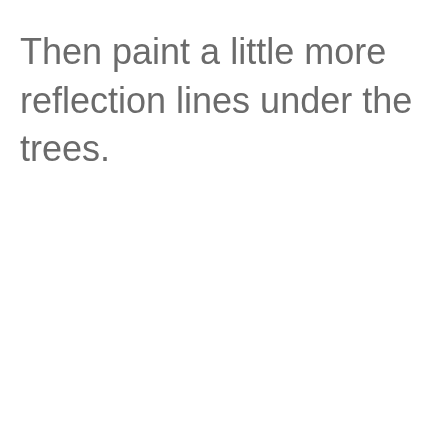Then paint a little more reflection lines under the trees.